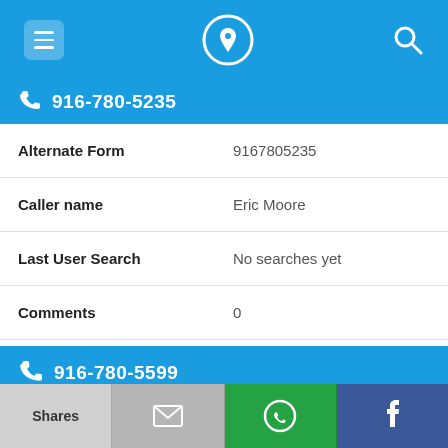Navigation bar with menu, phone-location, and search icons
916-780-5235
| Field | Value |
| --- | --- |
| Alternate Form | 9167805235 |
| Caller name | Eric Moore |
| Last User Search | No searches yet |
| Comments | 0 |
916-780-5599
| Field | Value |
| --- | --- |
| Alternate Form | 9167805599 |
Shares | Email | WhatsApp | Facebook